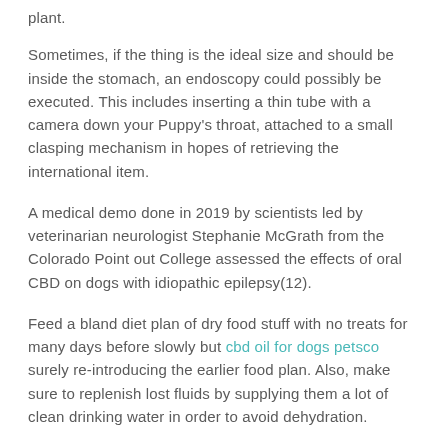plant.
Sometimes, if the thing is the ideal size and should be inside the stomach, an endoscopy could possibly be executed. This includes inserting a thin tube with a camera down your Puppy’s throat, attached to a small clasping mechanism in hopes of retrieving the international item.
A medical demo done in 2019 by scientists led by veterinarian neurologist Stephanie McGrath from the Colorado Point out College assessed the effects of oral CBD on dogs with idiopathic epilepsy(12).
Feed a bland diet plan of dry food stuff with no treats for many days before slowly but cbd oil for dogs petsco surely re-introducing the earlier food plan. Also, make sure to replenish lost fluids by supplying them a lot of clean drinking water in order to avoid dehydration.
When they getaway in Florida for that Wintertime she was scratching non prevent. After trying several different solutions they starter her on CBD.